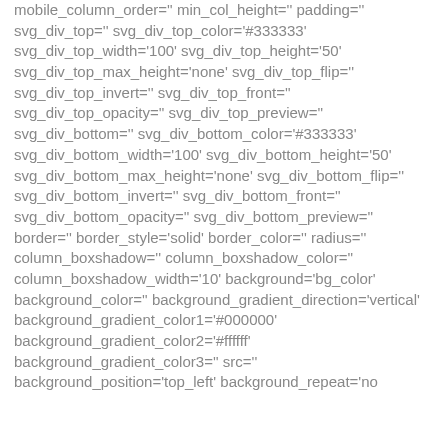mobile_column_order='' min_col_height='' padding='' svg_div_top='' svg_div_top_color='#333333' svg_div_top_width='100' svg_div_top_height='50' svg_div_top_max_height='none' svg_div_top_flip='' svg_div_top_invert='' svg_div_top_front='' svg_div_top_opacity='' svg_div_top_preview='' svg_div_bottom='' svg_div_bottom_color='#333333' svg_div_bottom_width='100' svg_div_bottom_height='50' svg_div_bottom_max_height='none' svg_div_bottom_flip='' svg_div_bottom_invert='' svg_div_bottom_front='' svg_div_bottom_opacity='' svg_div_bottom_preview='' border='' border_style='solid' border_color='' radius='' column_boxshadow='' column_boxshadow_color='' column_boxshadow_width='10' background='bg_color' background_color='' background_gradient_direction='vertical' background_gradient_color1='#000000' background_gradient_color2='#ffffff' background_gradient_color3='' src='' background_position='top_left' background_repeat='no